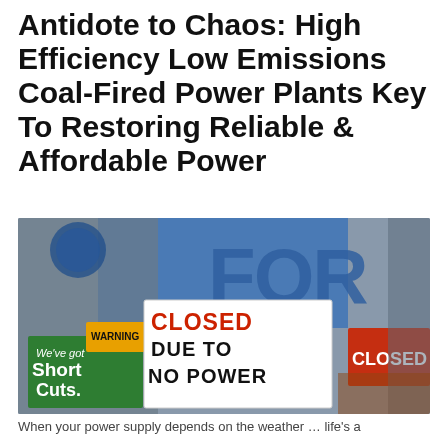Antidote to Chaos: High Efficiency Low Emissions Coal-Fired Power Plants Key To Restoring Reliable & Affordable Power
[Figure (photo): Photo of a shop window displaying multiple signs including a handwritten sign reading 'CLOSED DUE TO NO POWER' in red marker, a green sign saying 'We've got Short Cuts.', a WARNING sticker, and a blue 'FOR' text visible in background. A 'CLOSED' sign is also partially visible on the right side.]
When your power supply depends on the weather … life's a